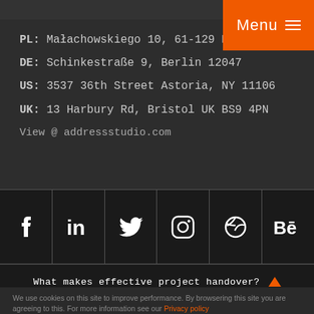Menu
PL: Małachowskiego 10, 61-129 Poznań
DE: Schinkestraße 9, Berlin 12047
US: 3537 36th Street Astoria, NY 11106
UK: 13 Harbury Rd, Bristol UK BS9 4PN
View @ addressstudio.com
[Figure (infographic): Social media icons: Facebook, LinkedIn, Twitter, Instagram, Dribbble, Behance]
What makes effective project handover?
We use cookies on this site to improve performance. By browsering this site you are agreeing to this. For more information see our Privacy policy
I understand